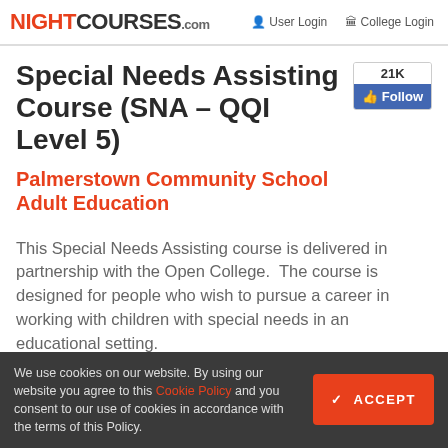NIGHTCOURSES.com  User Login  College Login
Special Needs Assisting Course (SNA – QQI Level 5)
Palmerstown Community School Adult Education
This Special Needs Assisting course is delivered in partnership with the Open College.  The course is designed for people who wish to pursue a career in working with children with special needs in an educational setting.
We use cookies on our website. By using our website you agree to this Cookie Policy and you consent to our use of cookies in accordance with the terms of this Policy.